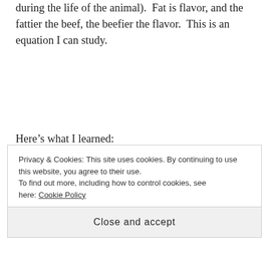during the life of the animal).  Fat is flavor, and the fattier the beef, the beefier the flavor.  This is an equation I can study.
Here's what I learned:
Delagrange also touched on U.S.D.A. grading, explaining that most meat we see in a butcher shop of the meat counter is Prime (highest designation, less than 2% of
Privacy & Cookies: This site uses cookies. By continuing to use this website, you agree to their use.
To find out more, including how to control cookies, see here: Cookie Policy
Close and accept